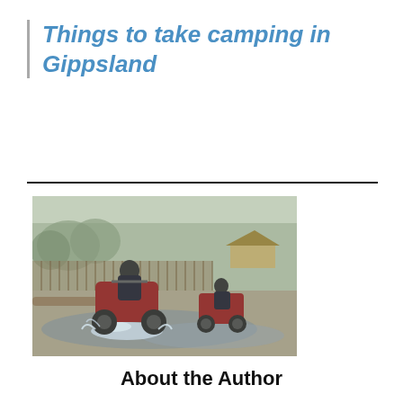Things to take camping in Gippsland
[Figure (photo): Two people riding quad bikes / ATVs through shallow water or flooded terrain, with trees and a structure visible in the misty background.]
About the Author